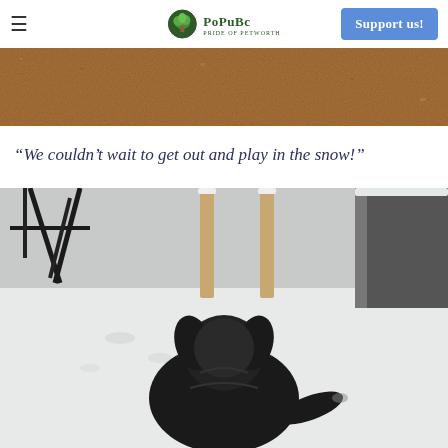≡  PoPuBc (Pride of Petworth)  Support us!
[Figure (photo): Close-up of a brown/tan stucco or textured wall surface, cropped at the top of the article.]
“We couldn’t wait to get out and play in the snow!”
[Figure (photo): A black dog seen from above and behind, standing in a snow-covered backyard with outdoor furniture (chairs and a table) visible in the background.]